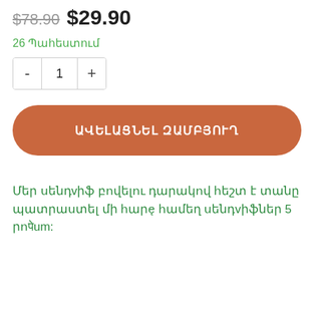$78.90 $29.90
26 Պահեստում
- 1 +
ԱՎԵԼԱՑՆԵԼ ԶԱՄԲՅՈՒՂ
Մեր սենդվիֆ բովելու դարակով հեշտ է տանը պատրաստել մի հարє համեղ սենդվիֆներ 5 րոպեում: